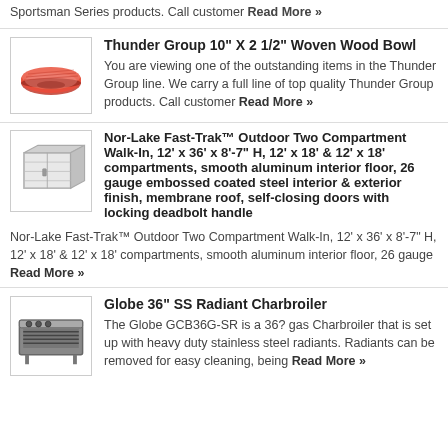Sportsman Series products. Call customer Read More »
Thunder Group 10" X 2 1/2" Woven Wood Bowl
[Figure (photo): Red woven wood bowl product photo]
You are viewing one of the outstanding items in the Thunder Group line. We carry a full line of top quality Thunder Group products. Call customer Read More »
Nor-Lake Fast-Trak™ Outdoor Two Compartment Walk-In, 12' x 36' x 8'-7" H, 12' x 18' & 12' x 18' compartments, smooth aluminum interior floor, 26 gauge embossed coated steel interior & exterior finish, membrane roof, self-closing doors with locking deadbolt handle
[Figure (photo): Walk-in cooler/freezer unit product photo]
Nor-Lake Fast-Trak™ Outdoor Two Compartment Walk-In, 12' x 36' x 8'-7" H, 12' x 18' & 12' x 18' compartments, smooth aluminum interior floor, 26 gauge Read More »
Globe 36" SS Radiant Charbroiler
[Figure (photo): Globe GCB36G-SR radiant charbroiler product photo]
The Globe GCB36G-SR is a 36? gas Charbroiler that is set up with heavy duty stainless steel radiants. Radiants can be removed for easy cleaning, being Read More »